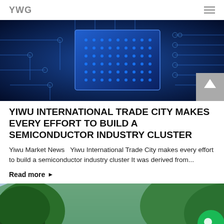YWG
[Figure (photo): Close-up photo of a blue-lit semiconductor circuit board with microchip and circuit traces]
YIWU INTERNATIONAL TRADE CITY MAKES EVERY EFFORT TO BUILD A SEMICONDUCTOR INDUSTRY CLUSTER
Yiwu Market News  Yiwu International Trade City makes every effort to build a semiconductor industry cluster It was derived from...
Read more ▶
[Figure (photo): Outdoor nature photo showing green forested hills and trees with a road visible at bottom]